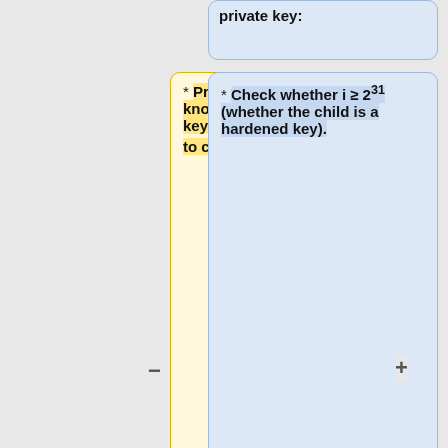private key:
* Private derivation: knowledge of the private key kpar and cpar is required to compute both ki and Ki.
* Check whether i ≥ 2^31 (whether the child is a hardened key).
* Public derivation: knowledge of the public key Kpar and cpar suffices to
** If so (hardened child): let I = HMAC-SHA512(Key = cpar, Data = 0x00 || ser256